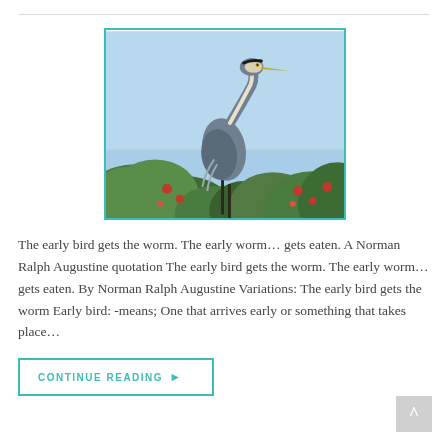[Figure (photo): A Great Blue Heron standing tall on top of green shrubs with red flowers against a light blue sky background.]
The early bird gets the worm. The early worm… gets eaten. A Norman Ralph Augustine quotation The early bird gets the worm. The early worm… gets eaten. By Norman Ralph Augustine Variations: The early bird gets the worm Early bird: -means; One that arrives early or something that takes place…
CONTINUE READING ▶